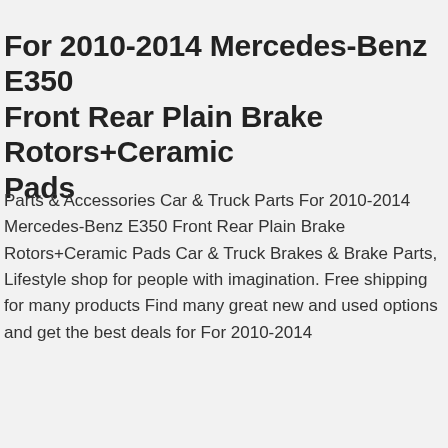For 2010-2014 Mercedes-Benz E350 Front Rear Plain Brake Rotors+Ceramic Pads
Parts & Accessories Car & Truck Parts For 2010-2014 Mercedes-Benz E350 Front Rear Plain Brake Rotors+Ceramic Pads Car & Truck Brakes & Brake Parts, Lifestyle shop for people with imagination. Free shipping for many products Find many great new and used options and get the best deals for For 2010-2014
[Figure (screenshot): Data Privacy Bot popup modal with robot icon, header 'Data Privacy Bot', close X button, GDPR consent message, and two buttons 'Yes, I Accept' and 'No, Not Now']